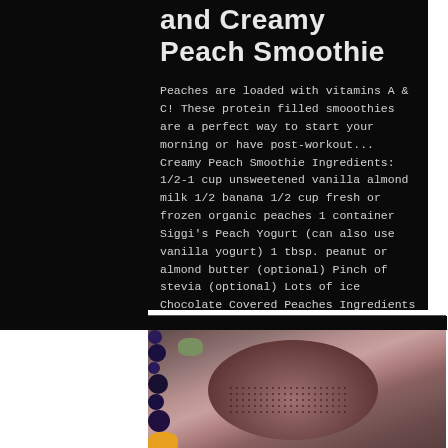and Creamy Peach Smoothie
Peaches are loaded with vitamins A & C! These protein filled smooothies are a perfect way to start your morning or have post-workout... Creamy Peach Smoothie Ingredients: 1/2-1 cup unsweetened vanilla almond milk 1/2 banana 1/2 cup fresh or frozen organic peaches 1 container Siggi's Peach Yogurt (can also use vanilla yogurt) 1 tbsp. peanut or almond butter (optional) Pinch of stevia (optional) Lots of ice Chocolate Covered Peaches Ingredients (all of the above - nut butter is
[Figure (photo): Close-up photo of a food dish showing a dark chocolate-dusted mound (possibly chocolate covered peaches or frozen yogurt) surrounded by blueberries, peach chunks, and other fruit on a plate, photographed from above at close range.]